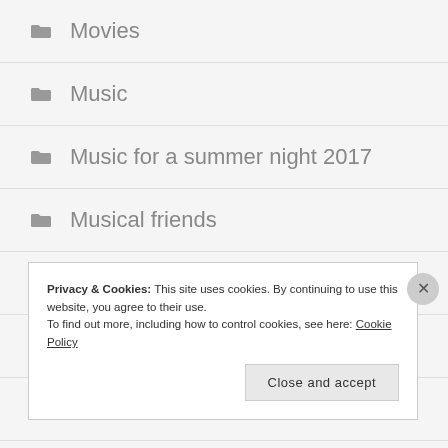Movies
Music
Music for a summer night 2017
Musical friends
My Music
My Writing
Narnia
Privacy & Cookies: This site uses cookies. By continuing to use this website, you agree to their use. To find out more, including how to control cookies, see here: Cookie Policy
Close and accept